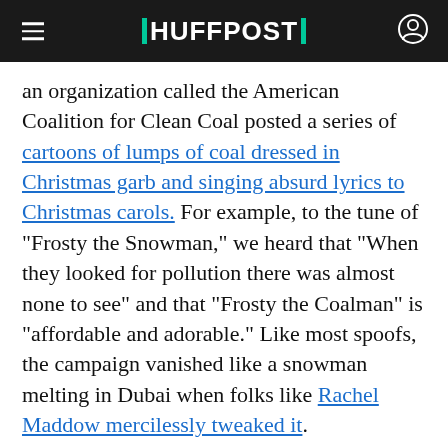HUFFPOST
an organization called the American Coalition for Clean Coal posted a series of cartoons of lumps of coal dressed in Christmas garb and singing absurd lyrics to Christmas carols. For example, to the tune of "Frosty the Snowman," we heard that "When they looked for pollution there was almost none to see" and that "Frosty the Coalman" is "affordable and adorable." Like most spoofs, the campaign vanished like a snowman melting in Dubai when folks like Rachel Maddow mercilessly tweaked it.
This week Peabody Energy issued a press release in the way that corporations that have